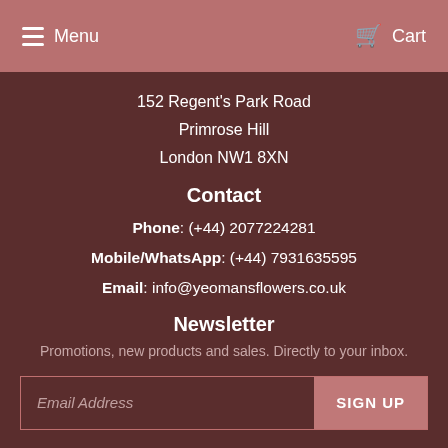Menu   Cart
152 Regent's Park Road
Primrose Hill
London NW1 8XN
Contact
Phone: (+44) 2077224281
Mobile/WhatsApp: (+44) 7931635595
Email: info@yeomansflowers.co.uk
Newsletter
Promotions, new products and sales. Directly to your inbox.
Email Address  SIGN UP